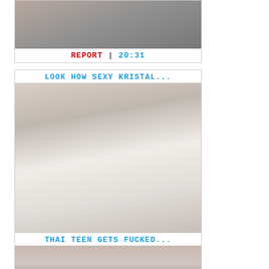[Figure (photo): Partial view of a person at top of page]
REPORT | 20:31
LOOK HOW SEXY KRISTAL...
[Figure (photo): Photo of person in white bridal-style outfit with white knee-high socks with bows]
REPORT | 38:42
THAI TEEN GETS FUCKED...
[Figure (photo): Partial photo at bottom of page]